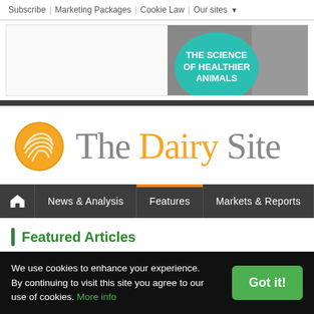Subscribe | Marketing Packages | Cookie Law | Our sites ▼
[Figure (illustration): Advertisement banner with teal circle reading 'THE SCIENCE OF HEALTHIER ANIMALS' on a dark background with animal photo]
[Figure (logo): The Dairy Site logo — orange globe icon with 'The Dairy Site' text, 'Dairy' in orange, 'The' and 'Site' in grey]
🏠 News & Analysis | Features | Markets & Reports
Featured Articles
We use cookies to enhance your experience. By continuing to visit this site you agree to our use of cookies. More info